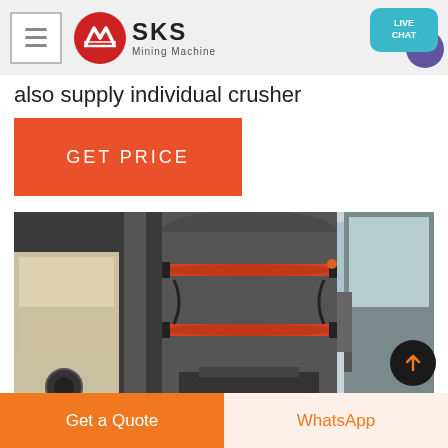[Figure (logo): SKS Mining Machine logo with red circular icon and text]
also supply individual crusher
GET PRICE
[Figure (photo): Industrial crusher machine with grey cylindrical body and orange/red banding straps, inside a factory setting]
Get a Quote
WhatsApp